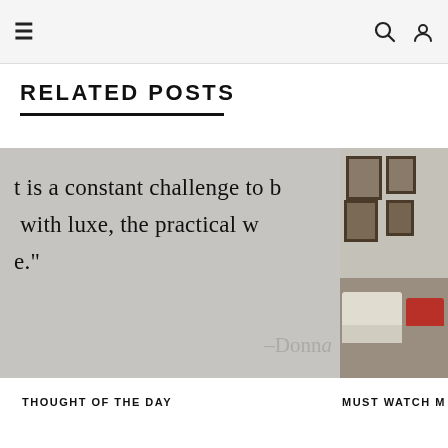Navigation header with hamburger menu, search icon, and user icon
RELATED POSTS
[Figure (photo): Partial quote image on grey background with text 'is a constant challenge to b... with luxe, the practical w... e.' and attribution '–Donna']
THOUGHT OF THE DAY
[Figure (photo): Interior room photo showing white sofas, framed paintings on wall, and a red chair]
MUST WATCH M